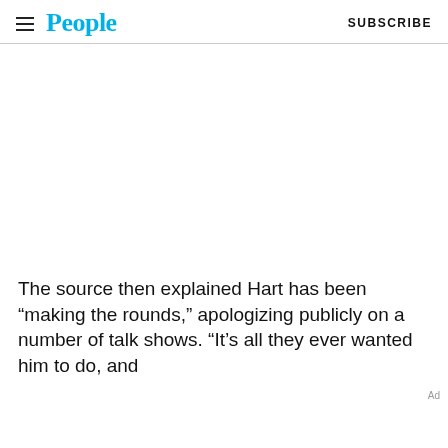People | SUBSCRIBE
[Figure (other): Large blank white advertisement area]
The source then explained Hart has been “making the rounds,” apologizing publicly on a number of talk shows. “It’s all they ever wanted him to do, and
[bottom line partially visible, cut off]